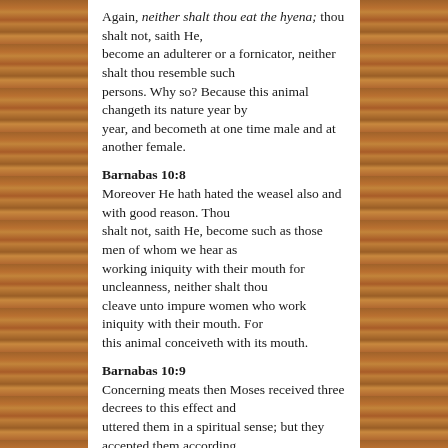Again, neither shalt thou eat the hyena; thou shalt not, saith He, become an adulterer or a fornicator, neither shalt thou resemble such persons. Why so? Because this animal changeth its nature year by year, and becometh at one time male and at another female.
Barnabas 10:8
Moreover He hath hated the weasel also and with good reason. Thou shalt not, saith He, become such as those men of whom we hear as working iniquity with their mouth for uncleanness, neither shalt thou cleave unto impure women who work iniquity with their mouth. For this animal conceiveth with its mouth.
Barnabas 10:9
Concerning meats then Moses received three decrees to this effect and uttered them in a spiritual sense; but they accepted them according